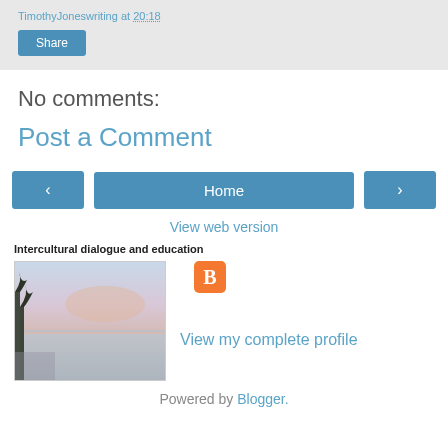TimothyJoneswriting at 20:18
Share
No comments:
Post a Comment
‹  Home  ›
View web version
Intercultural dialogue and education
[Figure (photo): Beach/coastal scene at dusk with silhouetted trees on left and calm water with pink/purple sky]
View my complete profile
Powered by Blogger.